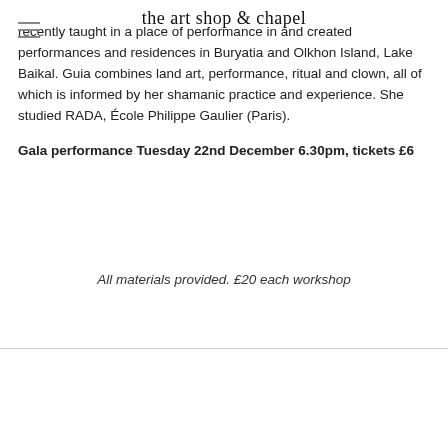the art shop & chapel
recently taught in a place of performance in and created performances and residences in Buryatia and Olkhon Island, Lake Baikal. Guia combines land art, performance, ritual and clown, all of which is informed by her shamanic practice and experience. She studied RADA, École Philippe Gaulier (Paris).
Gala performance Tuesday 22nd December 6.30pm, tickets £6
All materials provided. £20 each workshop